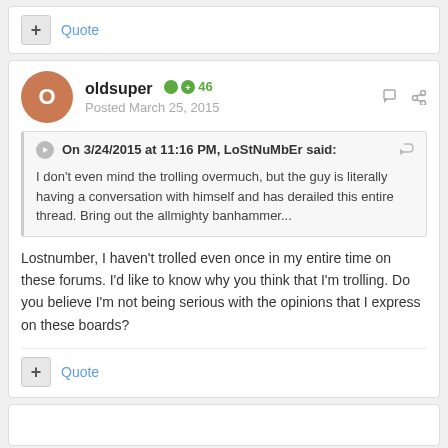+ Quote
oldsuper  +46
Posted March 25, 2015
On 3/24/2015 at 11:16 PM, LoStNuMbEr said:
I don't even mind the trolling overmuch, but the guy is literally having a conversation with himself and has derailed this entire thread.  Bring out the allmighty banhammer...
Lostnumber, I haven't trolled even once in my entire time on these forums. I'd like to know why you think that I'm trolling. Do you believe I'm not being serious with the opinions that I express on these boards?
+ Quote